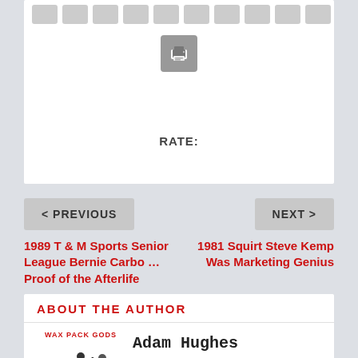RATE:
< PREVIOUS
NEXT >
1989 T & M Sports Senior League Bernie Carbo … Proof of the Afterlife
1981 Squirt Steve Kemp Was Marketing Genius
ABOUT THE AUTHOR
Adam Hughes